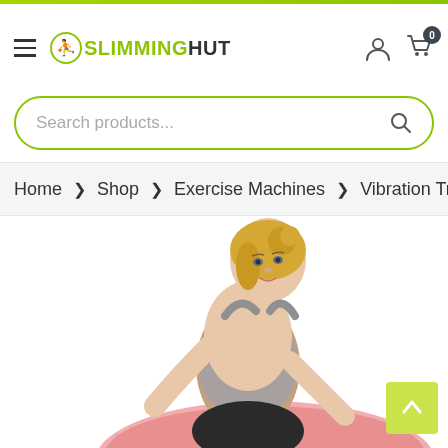[Figure (logo): SlimmingHut logo with green running figure icon]
Search products...
Home > Shop > Exercise Machines > Vibration Trainers > Ga
[Figure (photo): Blonde woman in grey sports bra leaning on pink exercise equipment, white background]